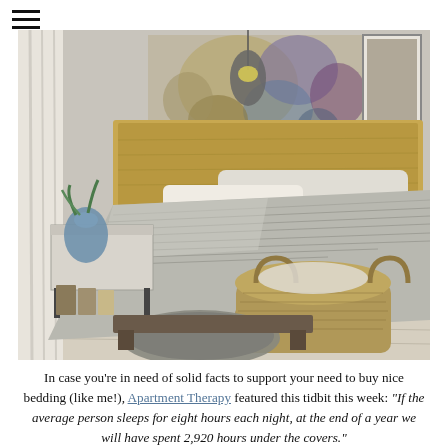[Figure (photo): A styled bedroom scene with a made bed featuring gray bedding with textured details, a wooden headboard, abstract colorful artwork on the wall, a pendant light, a nightstand with a blue glass vase and plant, wicker basket on the floor, a gray pillow on the floor, and light wood plank flooring.]
In case you're in need of solid facts to support your need to buy nice bedding (like me!), Apartment Therapy featured this tidbit this week: "If the average person sleeps for eight hours each night, at the end of a year we will have spent 2,920 hours under the covers."